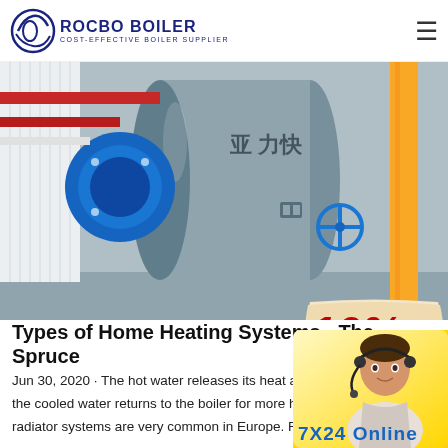ROCBO BOILER – COST-EFFECTIVE BOILER SUPPLIER
[Figure (photo): Industrial boiler room with a large cylindrical steam boiler, blue burner assembly, yellow pipes, and a 10% DISCOUNT badge overlay in the bottom-right corner]
Types of Home Heating Systems - The Spruce
Jun 30, 2020 · The hot water releases its heat at the radiators, and the cooled water returns to the boiler for more heating. Hot-water radiator systems are very common in Europe. Fuel sources:
[Figure (photo): Customer service representative with headset, overlaid on yellow background with '7X24 Online' text]